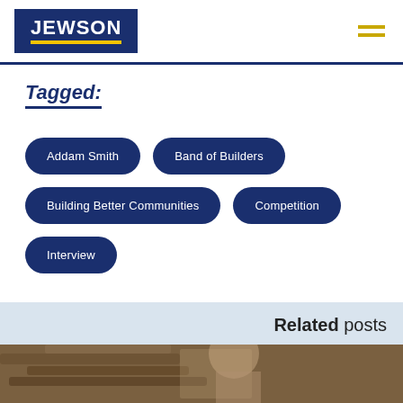JEWSON
Tagged:
Addam Smith
Band of Builders
Building Better Communities
Competition
Interview
Related posts
[Figure (photo): Photo of a person near a tiled roof]